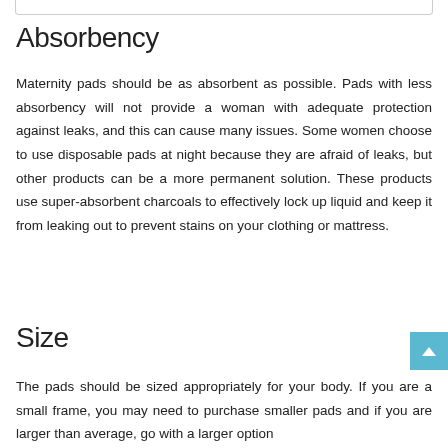Absorbency
Maternity pads should be as absorbent as possible. Pads with less absorbency will not provide a woman with adequate protection against leaks, and this can cause many issues. Some women choose to use disposable pads at night because they are afraid of leaks, but other products can be a more permanent solution. These products use super-absorbent charcoals to effectively lock up liquid and keep it from leaking out to prevent stains on your clothing or mattress.
Size
The pads should be sized appropriately for your body. If you are a small frame, you may need to purchase smaller pads and if you are larger than average, go with a larger option